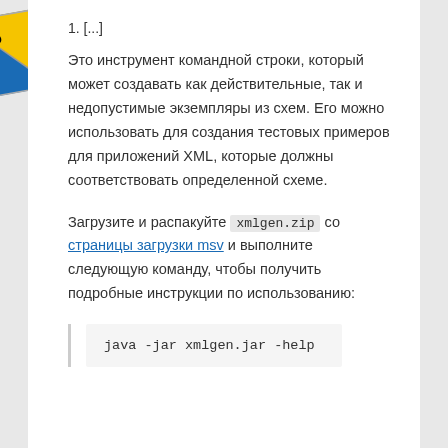1. [...]
Это инструмент командной строки, который может создавать как действительные, так и недопустимые экземпляры из схем. Его можно использовать для создания тестовых примеров для приложений XML, которые должны соответствовать определенной схеме.
Загрузите и распакуйте xmlgen.zip со страницы загрузки msv и выполните следующую команду, чтобы получить подробные инструкции по использованию:
java -jar xmlgen.jar -help